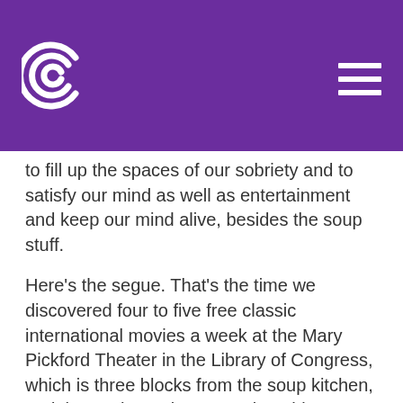Conversations with Tyler — logo and navigation
to fill up the spaces of our sobriety and to satisfy our mind as well as entertainment and keep our mind alive, besides the soup stuff.
Here's the segue. That's the time we discovered four to five free classic international movies a week at the Mary Pickford Theater in the Library of Congress, which is three blocks from the soup kitchen, and that's where Jim comes into this.
COWEN: We're with James Deutsch, just to make that clear. He's a scholar of NFAs and renowned for his work with the Smithsonian and has done